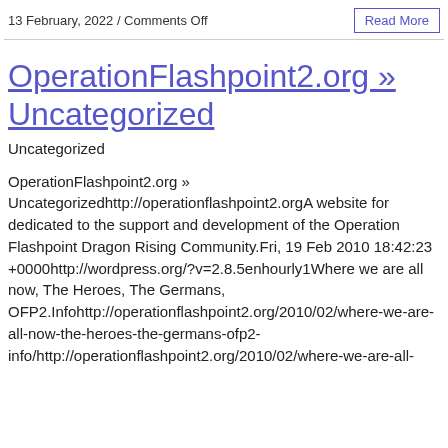13 February, 2022 / Comments Off
OperationFlashpoint2.org » Uncategorized
Uncategorized
OperationFlashpoint2.org » Uncategorizedhttp://operationflashpoint2.orgA website for dedicated to the support and development of the Operation Flashpoint Dragon Rising Community.Fri, 19 Feb 2010 18:42:23 +0000http://wordpress.org/?v=2.8.5enhourly1Where we are all now, The Heroes, The Germans, OFP2.Infohttp://operationflashpoint2.org/2010/02/where-we-are-all-now-the-heroes-the-germans-ofp2-info/http://operationflashpoint2.org/2010/02/where-we-are-all-